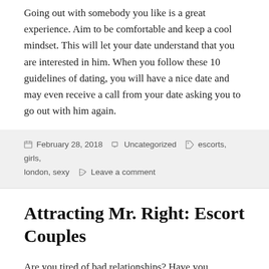Going out with somebody you like is a great experience. Aim to be comfortable and keep a cool mindset. This will let your date understand that you are interested in him. When you follow these 10 guidelines of dating, you will have a nice date and may even receive a call from your date asking you to go out with him again.
February 28, 2018   Uncategorized   escorts, girls, london, sexy   Leave a comment
Attracting Mr. Right: Escort Couples
Are you tired of bad relationships? Have you understood that it's no longer your fault? Are you